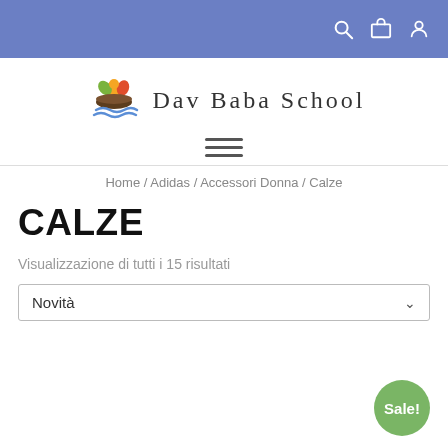Dav Baba School — navigation bar with search, cart, and user icons
[Figure (logo): Dav Baba School logo with colorful leaf and wave icon]
[Figure (other): Hamburger menu icon (three horizontal lines)]
Home / Adidas / Accessori Donna / Calze
CALZE
Visualizzazione di tutti i 15 risultati
Novità (dropdown sort selector)
[Figure (other): Green circular Sale! badge]